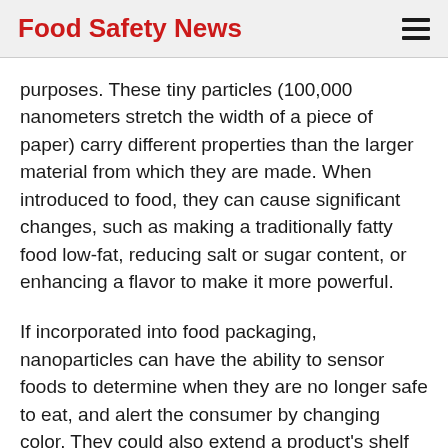Food Safety News
purposes. These tiny particles (100,000 nanometers stretch the width of a piece of paper) carry different properties than the larger material from which they are made. When introduced to food, they can cause significant changes, such as making a traditionally fatty food low-fat, reducing salt or sugar content, or enhancing a flavor to make it more powerful.
If incorporated into food packaging, nanoparticles can have the ability to sensor foods to determine when they are no longer safe to eat, and alert the consumer by changing color. They could also extend a product's shelf life.